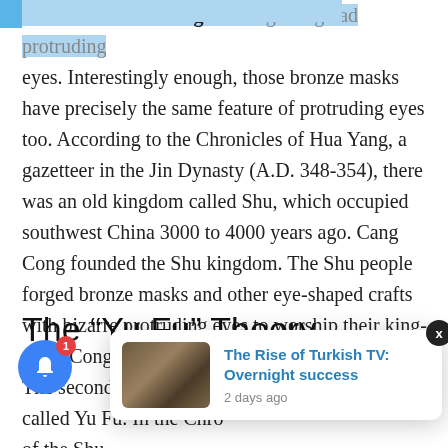recorded that the King of Cang Cong had protruding eyes. Interestingly enough, those bronze masks have precisely the same feature of protruding eyes too. According to the Chronicles of Hua Yang, a gazetteer in the Jin Dynasty (A.D. 348-354), there was an old kingdom called Shu, which occupied southwest China 3000 to 4000 years ago. Cang Cong founded the Shu kingdom. The Shu people forged bronze masks and other eye-shaped crafts with bizarre protruding eyes to worship their king- Cang Cong.
The “Yu Fu” Theory
The second theory mentioned another country called Yu Fu. In the Chro... of the Shu... hu kingdom’s capital, which geologically matches the Sanxingdui Ruins’ location. Also, at the time Yu Fu
[Figure (photo): Thumbnail photo of a group of people, associated with article 'The Rise of Turkish TV: Overnight success']
The Rise of Turkish TV: Overnight success — 2 days ago